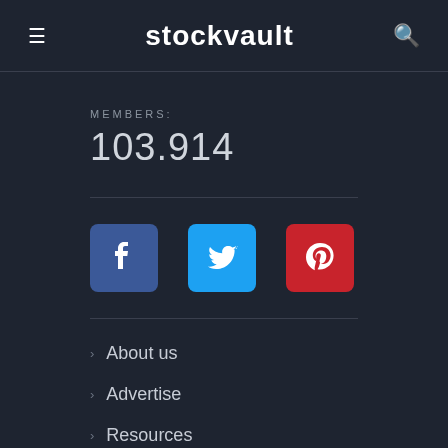stockvault
MEMBERS: 103.914
[Figure (infographic): Three social media icons: Facebook (blue square with 'f'), Twitter (light blue square with bird), Pinterest (red square with 'p')]
About us
Advertise
Resources
Terms of Use
FAQs